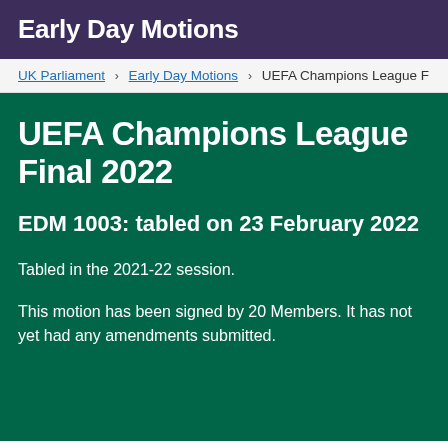Early Day Motions
UK Parliament > Early Day Motions > UEFA Champions League F
UEFA Champions League Final 2022
EDM 1003: tabled on 23 February 2022
Tabled in the 2021-22 session.
This motion has been signed by 20 Members. It has not yet had any amendments submitted.